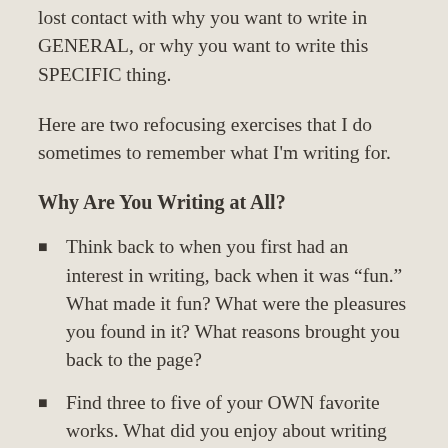lost contact with why you want to write in GENERAL, or why you want to write this SPECIFIC thing.
Here are two refocusing exercises that I do sometimes to remember what I’m writing for.
Why Are You Writing at All?
Think back to when you first had an interest in writing, back when it was “fun.” What made it fun? What were the pleasures you found in it? What reasons brought you back to the page?
Find three to five of your OWN favorite works. What did you enjoy about writing